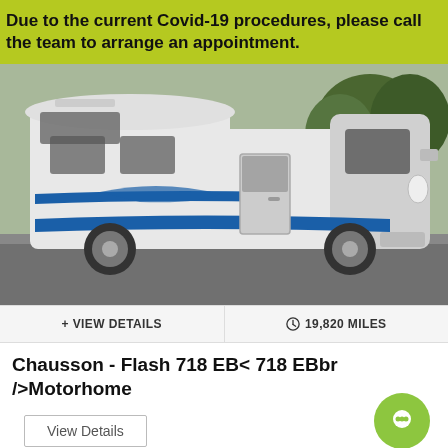Due to the current Covid-19 procedures, please call the team to arrange an appointment.
[Figure (photo): White Chausson motorhome with blue stripe graphics parked on a road, side-on view, with trees in background]
+ VIEW DETAILS
19,820 MILES
Chausson -  Flash 718 EB< 718 EBbr />Motorhome
View Details